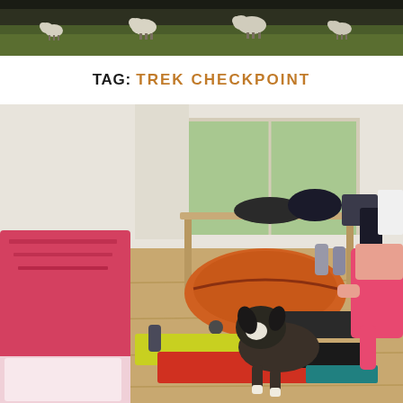[Figure (photo): Top banner photo showing sheep or goats on a green grassy hillside, dark background, strip image at top of page]
TAG: TREK CHECKPOINT
[Figure (photo): Indoor room scene with a dog sniffing through piles of trekking/outdoor gear and clothing spread on a wooden floor. A pink/red bed is on the left, a wooden desk with clothes draped over it is in the background near a window, and a person in a pink cycling jersey sits on the right. An orange rolling duffel bag is in the center background.]